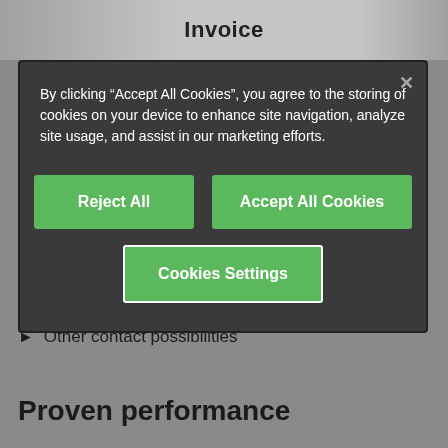Invoice
By clicking “Accept All Cookies”, you agree to the storing of cookies on your device to enhance site navigation, analyze site usage, and assist in our marketing efforts.
Reject All
Accept All Cookies
Cookies Settings
Consultation & support
+49-2203-9649-8201
Contact form
Other contact possibilities
Proven performance